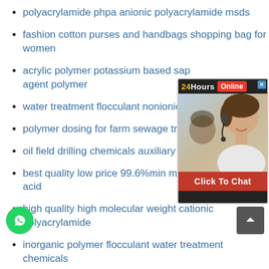polyacrylamide phpa anionic polyacrylamide msds
fashion cotton purses and handbags shopping bag for women
acrylic polymer potassium based sap agent polymer
water treatment flocculant nonionic p...
polymer dosing for farm sewage trea...
oil field drilling chemicals auxiliary po...
best quality low price 99.6%min manufacturer oxalic acid
high quality high molecular weight cationic polyacrylamide
inorganic polymer flocculant water treatment chemicals
na factory offer tmtd(tt)-80 rubber accelerator ag...
chinese manufacture zinc oxide used in rubber ceramic
[Figure (screenshot): 24Hours Online chat popup with a customer service representative photo and Click To Chat button]